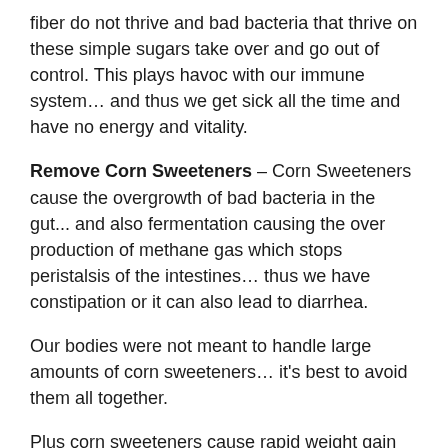fiber do not thrive and bad bacteria that thrive on these simple sugars take over and go out of control. This plays havoc with our immune system… and thus we get sick all the time and have no energy and vitality.
Remove Corn Sweeteners – Corn Sweeteners cause the overgrowth of bad bacteria in the gut... and also fermentation causing the over production of methane gas which stops peristalsis of the intestines… thus we have constipation or it can also lead to diarrhea.
Our bodies were not meant to handle large amounts of corn sweeteners… it's best to avoid them all together.
Plus corn sweeteners cause rapid weight gain resulting in obesity.
Probiotics – Taking probiotic bacteria in capsules is great,